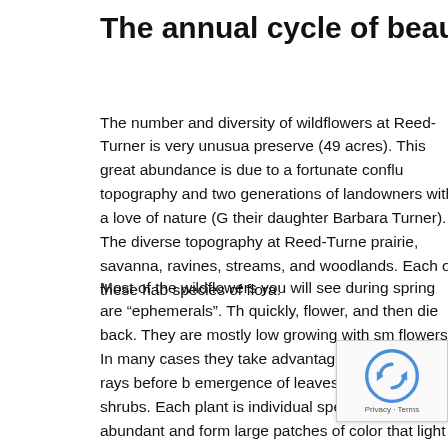The annual cycle of beautiful spring wildflowers is u
The number and diversity of wildflowers at Reed-Turner is very unusua... preserve (49 acres).  This great abundance is due to a fortunate conflu... topography and two generations of landowners with a love of nature (G... their daughter Barbara Turner).  The diverse topography at Reed-Turne... prairie, savanna, ravines, streams, and woodlands.  Each of these hab... species of flora.
Most of the wildflowers you will see during spring are “ephemerals”.  Th... quickly, flower, and then die back. They are mostly low growing with sm... flowers.  In many cases they take advantage of the sun’s rays before b... emergence of leaves on the trees and shrubs.  Each plant is individual... species are highly abundant and form large patches of color that light u
The majority of the wildflowers you will see at Reed-Turner are native t... few that come from other places – some of these are tolerated, as they... ecosystem.  Others, like garlic mustard, dame’s rocket, and multiflora r... crowd out the natives and in general are undesirable.  Volunteers and c... spend weeks pulling out and trying to control these invasives.
During the spring season we will post periodic updates on... through the Preserve and see if you can spot them all – an... season.
Click on the image for a list of our most prominent wildflowers and the